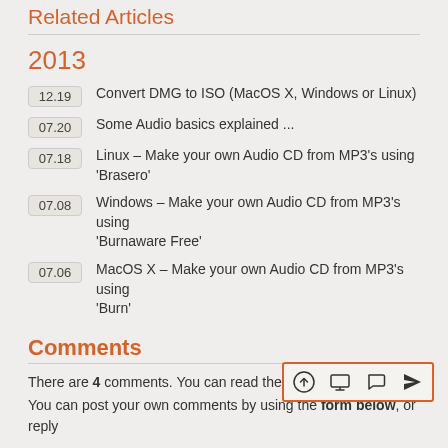Related Articles
2013
12.19  Convert DMG to ISO (MacOS X, Windows or Linux)
07.20  Some Audio basics explained ...
07.18  Linux – Make your own Audio CD from MP3's using 'Brasero'
07.08  Windows – Make your own Audio CD from MP3's using 'Burnaware Free'
07.06  MacOS X – Make your own Audio CD from MP3's using 'Burn'
Comments
There are 4 comments. You can read them
You can post your own comments by using the form below, or reply